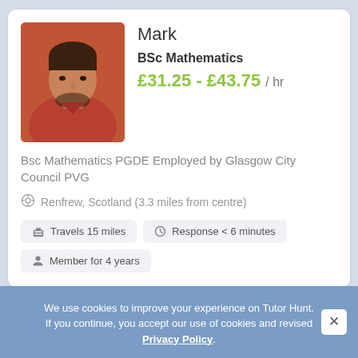[Figure (photo): Profile photo of Mark, a man in a red shirt]
Mark
BSc Mathematics
£31.25 - £43.75 / hr
Bsc Mathematics PGDE Employed by Glasgow City Council PVG
Renfrew, Scotland (3.3 miles from centre)
Travels 15 miles
Response < 6 minutes
Member for 4 years
[Figure (photo): Profile photo of Joe, partially visible woman with glasses in front of whiteboard]
Joe
QTS Qualified Teacher Status
We use cookies to improve your experience on Tutor Hunt. If you continue, you accept our use of cookies and revised Privacy Policy.